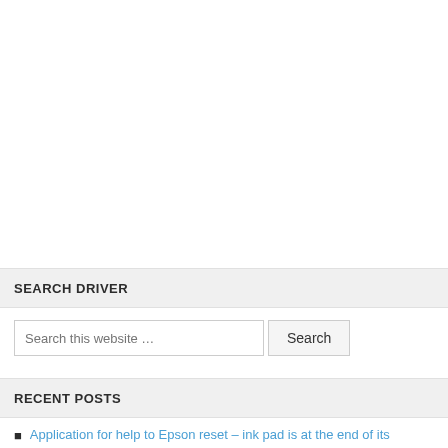SEARCH DRIVER
Search this website …
RECENT POSTS
Application for help to Epson reset – ink pad is at the end of its service life
Download Canon MX470 printer driver Windows & Mac OS